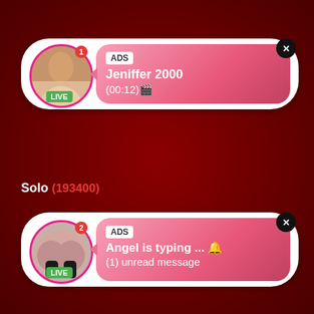[Figure (screenshot): Ad notification card with avatar photo of woman, LIVE badge, ADS label, name Jeniffer 2000, time (00:12), close button]
Solo (193400)
[Figure (screenshot): Ad notification card with avatar photo, LIVE badge, ADS label, text Angel is typing ... (1) unread message, close button]
Sporty (1683)
Squirt (118540)
Stockings (166851)
Strapon (7425)
Strip (18840)
Submissive (3002)
Swallow (198431)